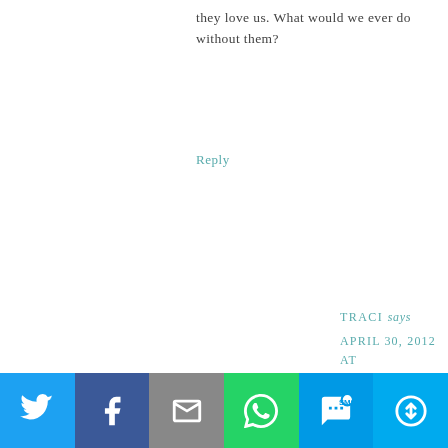they love us. What would we ever do without them?
Reply
TRACI says
APRIL 30, 2012 AT 1:44 PM
I know! Aren't they precious?! He is definitely developing a
"blogger's mentality" after putting up with me and my blog for the